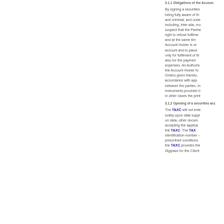3.1.1 Obligations of the Account...
By signing a securities... being fully aware of th... and criminal, and unde... including, inter alia, mo... suspect that the Partne... right to refuse fulfilme... and at the same tim... Account Holder is re... account and to place ... only for fulfilment of th... also for the paymen... expenses. An Authoris... the Account Holder fo... Orders given thereto... accordance with app... between the parties. In... instruments provided b... in other cases the print...
3.1.2 Opening of a securities acc...
The TAXC will not ente... solely upon data suppl... on data, other docum... accepting the applica... the TAXC. The TAX... identification number –... prescribed conditions... the TAXC provides the... Digipass for the Client...